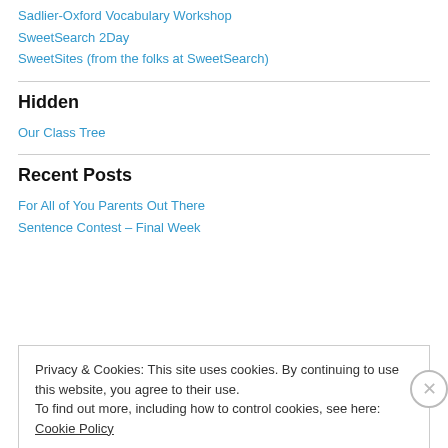Sadlier-Oxford Vocabulary Workshop
SweetSearch 2Day
SweetSites (from the folks at SweetSearch)
Hidden
Our Class Tree
Recent Posts
For All of You Parents Out There
Sentence Contest – Final Week
Privacy & Cookies: This site uses cookies. By continuing to use this website, you agree to their use.
To find out more, including how to control cookies, see here: Cookie Policy